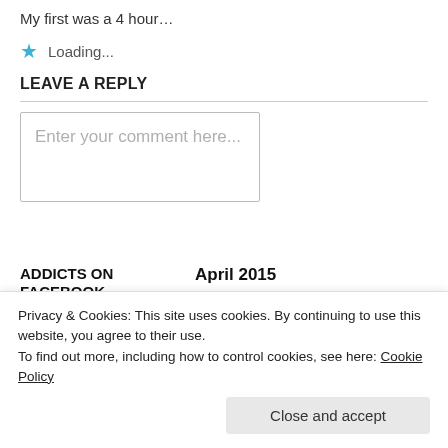My first was a 4 hour…
★ Loading...
LEAVE A REPLY
Enter your comment here...
ADDICTS ON FACEBOOK
| M | T | W | T | F | S | S |
| --- | --- | --- | --- | --- | --- | --- |
|  |  | 1 | 2 | 3 | 4 | 5 |
| 6 | 7 | 8 | 9 | 10 | 11 | 12 |
| 13 | 14 | 15 | 16 | 17 | 18 | 19 |
•
Privacy & Cookies: This site uses cookies. By continuing to use this website, you agree to their use.
To find out more, including how to control cookies, see here: Cookie Policy
Close and accept